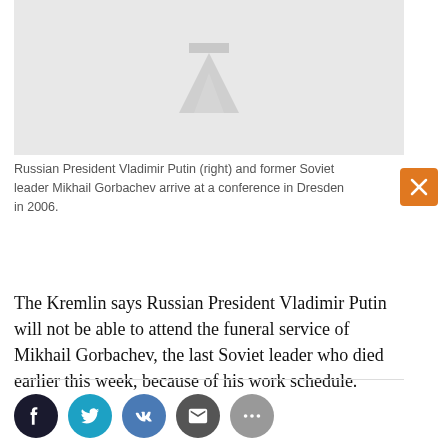[Figure (photo): Placeholder image with a logo icon on light grey background]
Russian President Vladimir Putin (right) and former Soviet leader Mikhail Gorbachev arrive at a conference in Dresden in 2006.
The Kremlin says Russian President Vladimir Putin will not be able to attend the funeral service of Mikhail Gorbachev, the last Soviet leader who died earlier this week, because of his work schedule.
[Figure (illustration): Social media sharing buttons: Facebook, Twitter, VK, Email, More]